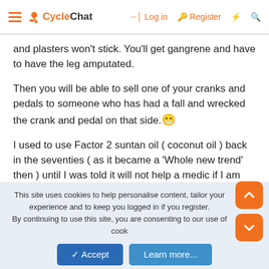CycleChat — Log in  Register
and plasters won't stick. You'll get gangrene and have to have the leg amputated.
Then you will be able to sell one of your cranks and pedals to someone who has had a fall and wrecked the crank and pedal on that side. 😁
I used to use Factor 2 suntan oil ( coconut oil ) back in the seventies ( as it became a 'Whole new trend' then ) until I was told it will not help a medic if I am grazed up due to a fall.
This site uses cookies to help personalise content, tailor your experience and to keep you logged in if you register.
By continuing to use this site, you are consenting to our use of cookies.